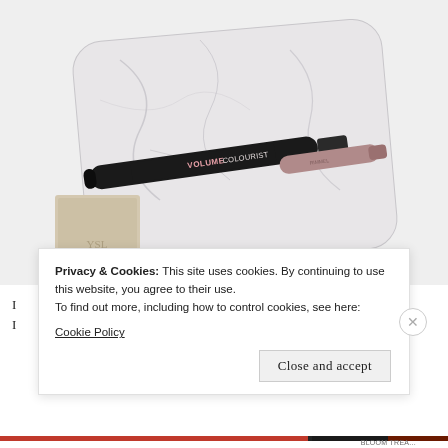[Figure (photo): Overhead photo of a white marble tray containing a black Rimmel Volume Colourist mascara and a mauve/taupe lip product, with a beige compact box partially visible at the bottom left. Marble surface with grey veining visible.]
I ... filled the basket with four new fav... I ...
Privacy & Cookies: This site uses cookies. By continuing to use this website, you agree to their use. To find out more, including how to control cookies, see here: Cookie Policy
Close and accept